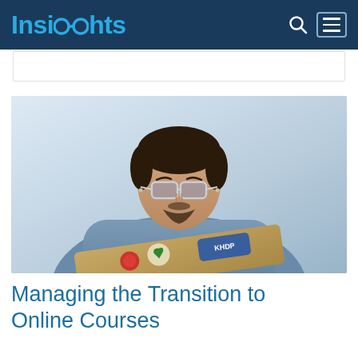Insights
[Figure (photo): A young man with glasses and a beard wearing a denim jacket, looking down at a laptop computer decorated with stickers including a heart sticker and text stickers.]
Managing the Transition to Online Courses